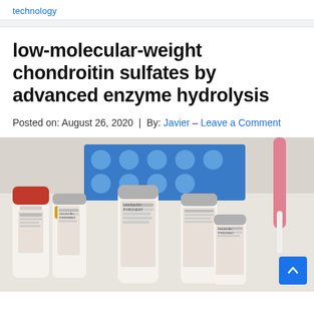technology
low-molecular-weight chondroitin sulfates by advanced enzyme hydrolysis
Posted on: August 26, 2020 | By: Javier – Leave a Comment
[Figure (photo): Multiple small pharmaceutical vials with labels including 'Limulus Amebocyte PYROGENT', one with a red cap and one with a yellow cap, arranged on a white surface with a blue equipment rack and pink pipette in the background.]